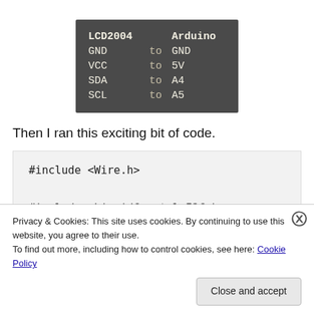| LCD2004 |  | Arduino |
| --- | --- | --- |
| GND | to | GND |
| VCC | to | 5V |
| SDA | to | A4 |
| SCL | to | A5 |
Then I ran this exciting bit of code.
#include <Wire.h>
#include <LiquidCrystal_I2C.h>
Privacy & Cookies: This site uses cookies. By continuing to use this website, you agree to their use.
To find out more, including how to control cookies, see here: Cookie Policy